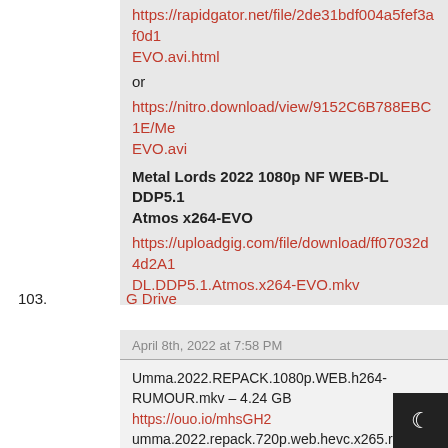https://rapidgator.net/file/2de31bdf004a5fef3af0d1.../EVO.avi.html
or
https://nitro.download/view/9152C6B788EBC1E/Me.../EVO.avi
Metal Lords 2022 1080p NF WEB-DL DDP5.1 Atmos x264-EVO
https://uploadgig.com/file/download/ff07032d4d2A1.../DL.DDP5.1.Atmos.x264-EVO.mkv
103. G Drive
April 8th, 2022 at 7:58 PM
Umma.2022.REPACK.1080p.WEB.h264-RUMOUR.mkv – 4.24 GB
https://ouo.io/mhsGH2
umma.2022.repack.720p.web.hevc.x265.rmtea... – 345.78 MB